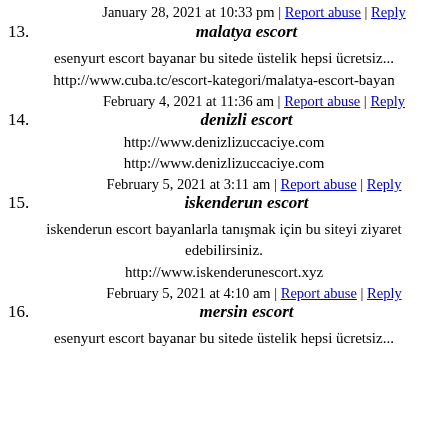January 28, 2021 at 10:33 pm | Report abuse | Reply
13. malatya escort
esenyurt escort bayanar bu sitede üstelik hepsi ücretsiz...
http://www.cuba.tc/escort-kategori/malatya-escort-bayan
February 4, 2021 at 11:36 am | Report abuse | Reply
14. denizli escort
http://www.denizlizuccaciye.com
http://www.denizlizuccaciye.com
February 5, 2021 at 3:11 am | Report abuse | Reply
15. iskenderun escort
iskenderun escort bayanlarla tanışmak için bu siteyi ziyaret edebilirsiniz.
http://www.iskenderunescort.xyz
February 5, 2021 at 4:10 am | Report abuse | Reply
16. mersin escort
esenyurt escort bayanar bu sitede üstelik hepsi ücretsiz...